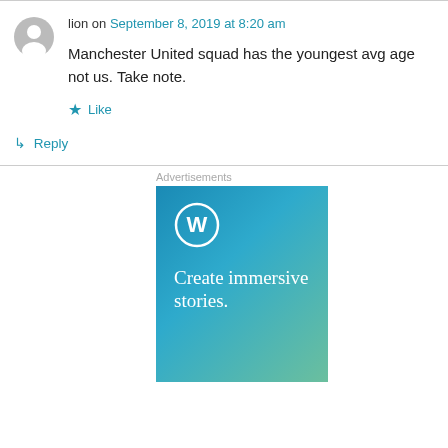lion on September 8, 2019 at 8:20 am
Manchester United squad has the youngest avg age not us. Take note.
Like
Reply
Advertisements
[Figure (illustration): WordPress advertisement banner with gradient blue-green background, WordPress logo (circle with W), and text 'Create immersive stories.']